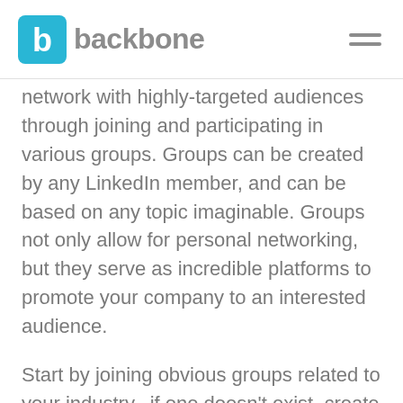backbone
network with highly-targeted audiences through joining and participating in various groups. Groups can be created by any LinkedIn member, and can be based on any topic imaginable. Groups not only allow for personal networking, but they serve as incredible platforms to promote your company to an interested audience.
Start by joining obvious groups related to your industry...if one doesn't exist, create one. Keep in mind that not all